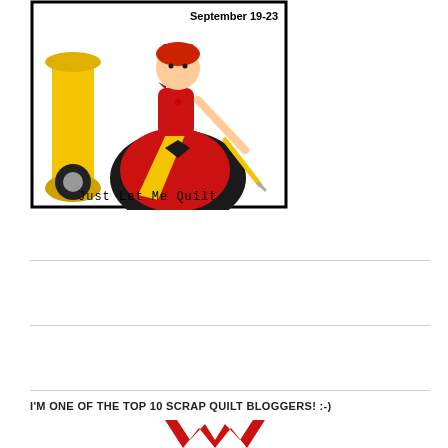[Figure (illustration): Illustrated cartoon of a woman dressed as a Queen of Hearts playing card, wearing a red and black dress with yellow accents, holding a sewing needle/quilting tool. She stands beside a large yellow spool/bobbin. Text at bottom reads 'Just Let Me Quilt' and top reads 'September 19-23'. Bordered by a black rectangle.]
I'M ONE OF THE TOP 10 SCRAP QUILT BLOGGERS! :-)
[Figure (logo): Red and white W-shaped logo mark, partially visible at bottom of page.]